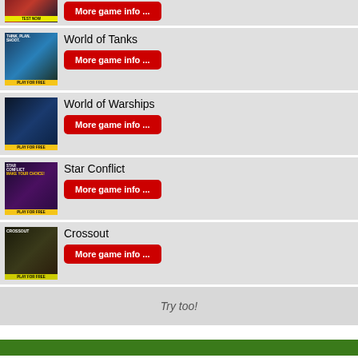[Figure (screenshot): War Thunder game banner thumbnail (partially visible at top)]
More game info ...
[Figure (screenshot): World of Tanks game banner thumbnail with PLAY FOR FREE label]
World of Tanks
More game info ...
[Figure (screenshot): World of Warships game banner thumbnail with PLAY FOR FREE label]
World of Warships
More game info ...
[Figure (screenshot): Star Conflict game banner thumbnail with PLAY FOR FREE label]
Star Conflict
More game info ...
[Figure (screenshot): Crossout game banner thumbnail with PLAY FOR FREE label]
Crossout
More game info ...
Try too!